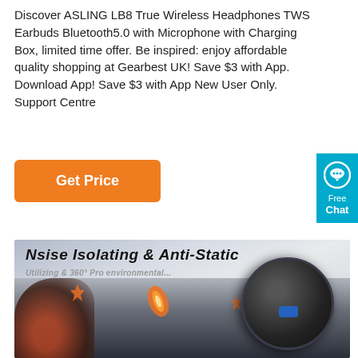Discover ASLING LB8 True Wireless Headphones TWS Earbuds Bluetooth5.0 with Microphone with Charging Box, limited time offer. Be inspired: enjoy affordable quality shopping at Gearbest UK! Save $3 with App. Download App! Save $3 with App New User Only. Support Centre
[Figure (other): Orange 'Get Price' button]
[Figure (other): Blue 'Free Chat' widget on right side]
[Figure (photo): Product promotional image showing ASLING headphones/earbuds with text 'Noise Isolating & Anti-Static' and dark dramatic action background]